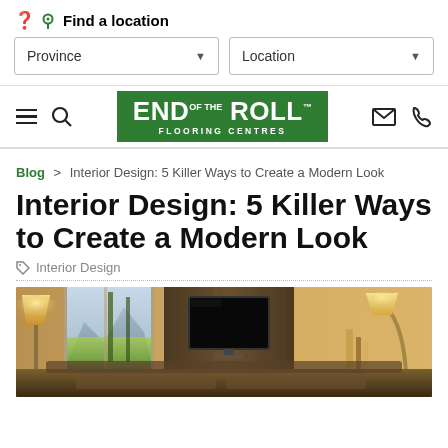Find a location
Province | Location (dropdowns)
[Figure (logo): End of the Roll Flooring Centres logo — white text on green background, with hamburger menu, search, mail and phone icons in navigation bar]
Blog > Interior Design: 5 Killer Ways to Create a Modern Look
Interior Design: 5 Killer Ways to Create a Modern Look
Interior Design
[Figure (photo): Interior design photo showing a modern living room with warm golden and brown tones, a large flat-screen TV on a wood-paneled wall, green foliage and mountains visible through windows, floor lamps, and a dark sofa with decorative vases.]